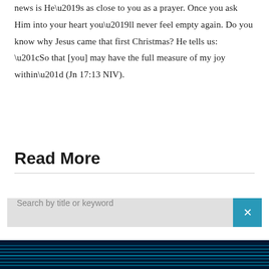news is He’s as close to you as a prayer. Once you ask Him into your heart you’ll never feel empty again. Do you know why Jesus came that first Christmas? He tells us: “So that [you] may have the full measure of my joy within” (Jn 17:13 NIV).
Read More
Search by title or keyword
[Figure (photo): Dark blue digital/technology background with horizontal glowing cyan lines]